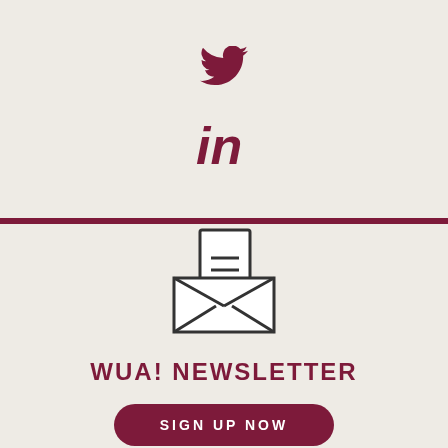[Figure (logo): Twitter bird icon in dark red/maroon color]
[Figure (logo): LinkedIn 'in' logo in dark red/maroon color]
[Figure (illustration): Open envelope with letter icon, drawn in outline style with dark lines]
WUA! NEWSLETTER
SIGN UP NOW